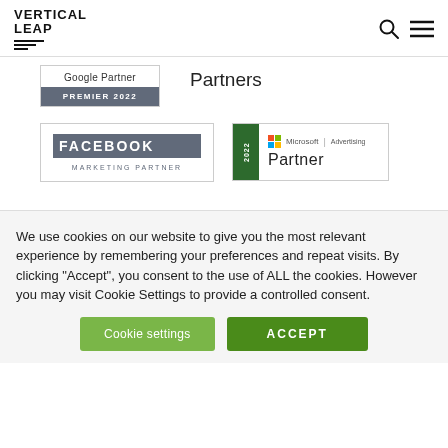[Figure (logo): Vertical Leap logo with bold stacked text and three horizontal lines beneath]
[Figure (logo): Google Partner Premier 2022 badge]
Partners
[Figure (logo): Facebook Marketing Partner badge]
[Figure (logo): Microsoft Advertising 2022 Partner badge]
We use cookies on our website to give you the most relevant experience by remembering your preferences and repeat visits. By clicking “Accept”, you consent to the use of ALL the cookies. However you may visit Cookie Settings to provide a controlled consent.
Cookie settings
ACCEPT